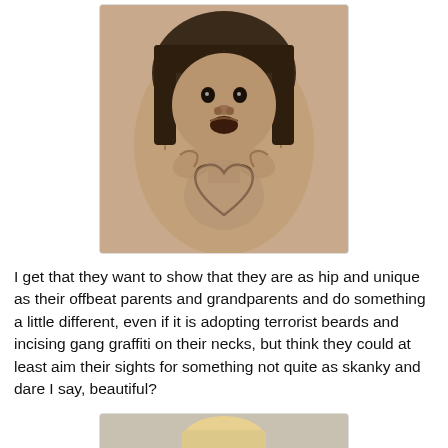[Figure (photo): A tattoo on a person's shoulder/arm depicting a distorted face of a child/person with dark hair and bangs, hands raised near face, with a heart shape below. Black and grey tattoo style.]
I get that they want to show that they are as hip and unique as their offbeat parents and grandparents and do something a little different, even if it is adopting terrorist beards and incising gang graffiti on their necks, but think they could at least aim their sights for something not quite as skanky and dare I say, beautiful?
[Figure (photo): Partial photo at bottom of page, appears to show a person with light/blonde hair, cropped at bottom.]